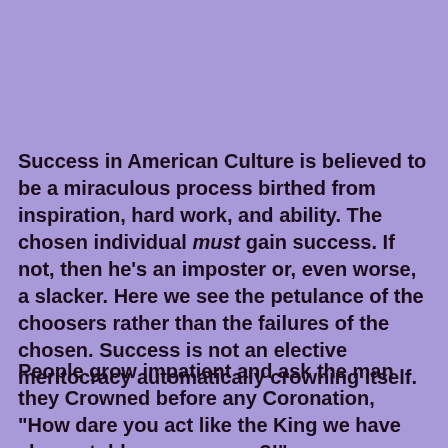Success in American Culture is believed to be a miraculous process birthed from inspiration, hard work, and ability. The chosen individual must gain success. If not, then he's an imposter or, even worse, a slacker. Here we see the petulance of the choosers rather than the failures of the chosen. Success is not an elective meritocracy automatically crowning itself.
People grow impatient and ask the man they Crowned before any Coronation, "How dare you act like the King we have always told you you were?!"